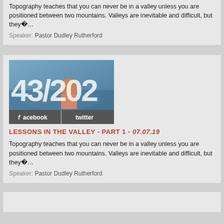Topography teaches that you can never be in a valley unless you are positioned between two mountains. Valleys are inevitable and difficult, but they�…
Speaker: Pastor Dudley Rutherford
[Figure (screenshot): Thumbnail image showing '43/202' text overlay on a photo of a speaker, with facebook and twitter social share buttons below]
LESSONS IN THE VALLEY - PART 1 - 07.07.19
Topography teaches that you can never be in a valley unless you are positioned between two mountains. Valleys are inevitable and difficult, but they�…
Speaker: Pastor Dudley Rutherford